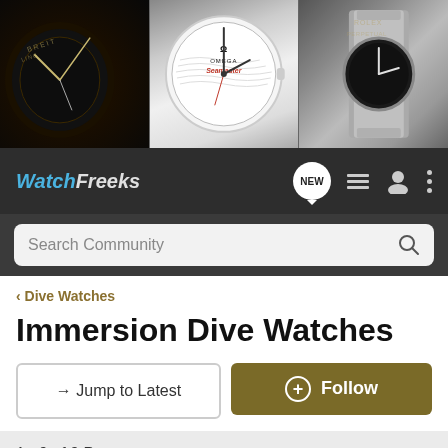[Figure (photo): Banner image showing three watch close-ups: a dark chronograph (Breitling-style), an Omega Seamaster with white dial, and a Rolex with silver bracelet]
WatchFreeks
Search Community
< Dive Watches
Immersion Dive Watches
→ Jump to Latest
+ Follow
1 - 9 of 9 Posts
BW-1 · Registered
Joined Oct 14, 2009 · 768 Posts